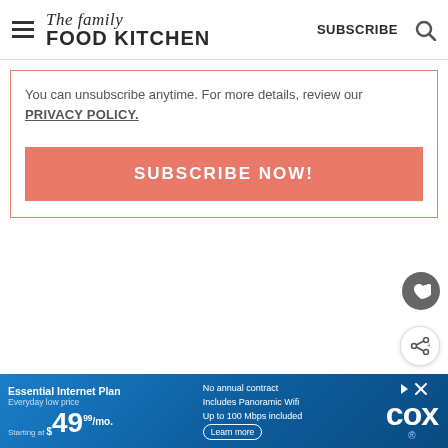The family FOOD KITCHEN | SUBSCRIBE
You can unsubscribe anytime. For more details, review our PRIVACY POLICY.
SUBSCRIBE NOW!
[Figure (screenshot): Advertisement banner for Cox Essential Internet Plan starting at $49.99/mo with Panoramic Wifi included]